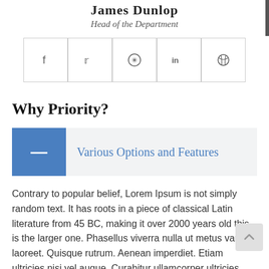James Dunlop
Head of the Department
[Figure (infographic): A row of social media icons (Facebook, Twitter, Reddit, LinkedIn, Dribbble) in bordered boxes]
Why Priority?
[Figure (infographic): A blue box with a white dash/minus icon next to a light grey panel with text 'Various Options and Features' in blue cursive font]
Contrary to popular belief, Lorem Ipsum is not simply random text. It has roots in a piece of classical Latin literature from 45 BC, making it over 2000 years old this is the larger one. Phasellus viverra nulla ut metus varius laoreet. Quisque rutrum. Aenean imperdiet. Etiam ultricies nisi vel augue. Curabitur ullamcorper ultricies nisi. Nam eget dui. Etiam